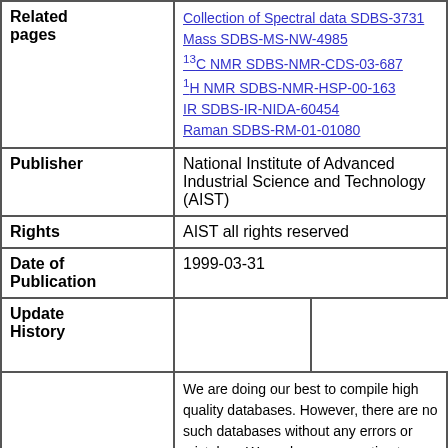| Related pages | Collection of Spectral data SDBS-3731
Mass SDBS-MS-NW-4985
13C NMR SDBS-NMR-CDS-03-687
1H NMR SDBS-NMR-HSP-00-163
IR SDBS-IR-NIDA-60454
Raman SDBS-RM-01-01080 |
| Publisher | National Institute of Advanced Industrial Science and Technology (AIST) |
| Rights | AIST all rights reserved |
| Date of Publication | 1999-03-31 |
| Update History |  |
|  | We are doing our best to compile high quality databases. However, there are no such databases without any errors or mistakes. We make no warranties to those effects and shall not be liable for any damage that may result from errors in the database. You can check the page Known Errors of Mistakes in SDBS. When you find new errors or mistakes, please inform us using email (see this page for contact details). |